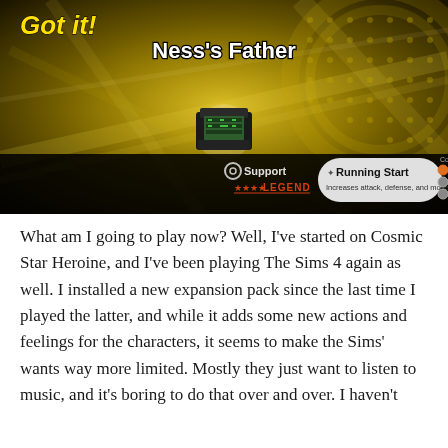[Figure (screenshot): Super Smash Bros. Ultimate screenshot showing a Spirit unlock screen for 'Ness's Father'. The background is gold/yellow with dramatic lighting. A pixel-art telephone sprite is shown in the center. At the bottom, a dark bar shows 'Support' type with 'LEGEND' rank (4 red stars), and a pill-shaped button showing 'Running Start' with description 'Increases attack, defense, and move spd'.]
What am I going to play now? Well, I’ve started on Cosmic Star Heroine, and I’ve been playing The Sims 4 again as well. I installed a new expansion pack since the last time I played the latter, and while it adds some new actions and feelings for the characters, it seems to make the Sims’ wants way more limited. Mostly they just want to listen to music, and it’s boring to do that over and over. I haven’t